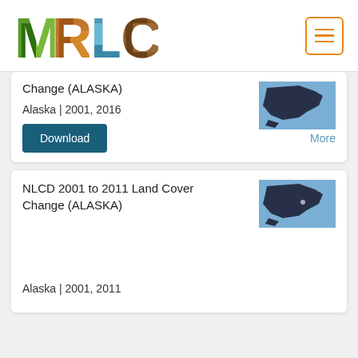MRLC
Change (ALASKA)
Alaska | 2001, 2016
Download
More
NLCD 2001 to 2011 Land Cover Change (ALASKA)
Alaska | 2001, 2011